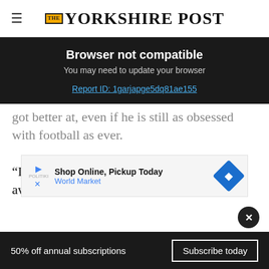THE YORKSHIRE POST
Browser not compatible
You may need to update your browser
Report ID: 1garjapge5dq81ae155
got better at, even if he is still as obsessed with football as ever.
“I like to relax with my family and just be away from it when I’m not at the training ground,” he says.
“I’— (partially visible)
[Figure (other): Advertisement banner: Shop Online, Pickup Today – World Market with diamond navigation icon]
50% off annual subscriptions   Subscribe today